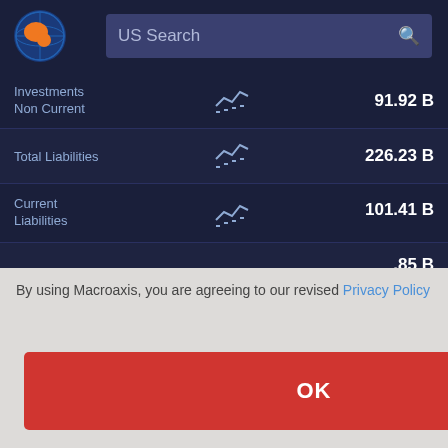[Figure (screenshot): Macroaxis website screenshot showing financial data table with a privacy policy modal dialog overlay]
| Metric |  | Value |
| --- | --- | --- |
| Investments Non Current |  | 91.92 B |
| Total Liabilities |  | 226.23 B |
| Current Liabilities |  | 101.41 B |
|  |  | ...85 B |
|  |  | ...77 B |
| and Equipment |  | 37.94 B |
By using Macroaxis, you are agreeing to our revised Privacy Policy
OK